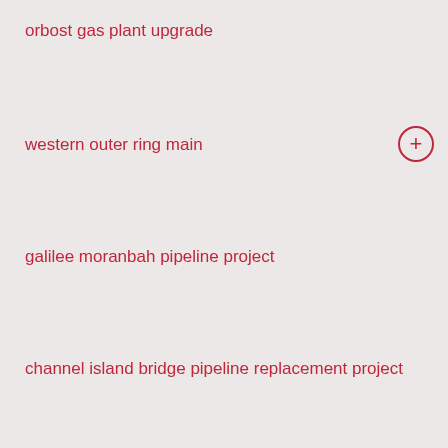orbost gas plant upgrade
western outer ring main
galilee moranbah pipeline project
channel island bridge pipeline replacement project
crib point pakenham pipeline
northern goldfields interconnect
kurri kurri lateral pipeline project
amadeus gas pipeline access arrangement
roma brisbane pipeline access arrangement
victorian transmission system access arrangement